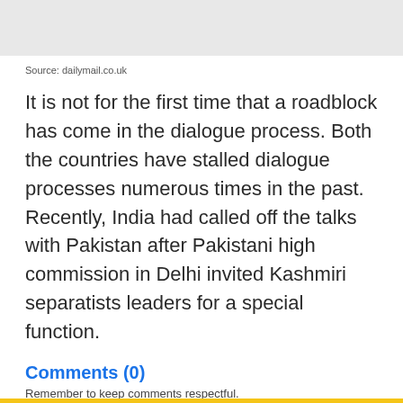Source: dailymail.co.uk
It is not for the first time that a roadblock has come in the dialogue process. Both the countries have stalled dialogue processes numerous times in the past. Recently, India had called off the talks with Pakistan after Pakistani high commission in Delhi invited Kashmiri separatists leaders for a special function.
Comments (0)
Remember to keep comments respectful.
Write a comment..